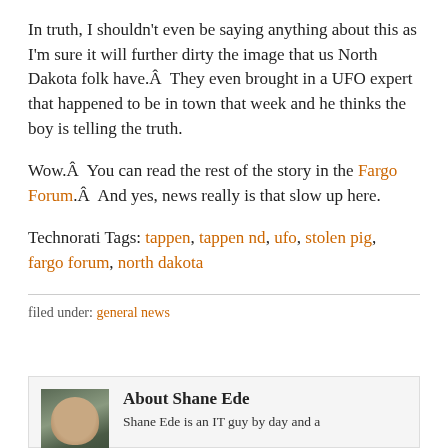In truth, I shouldn’t even be saying anything about this as I’m sure it will further dirty the image that us North Dakota folk have.Â  They even brought in a UFO expert that happened to be in town that week and he thinks the boy is telling the truth.
Wow.Â  You can read the rest of the story in the Fargo Forum.Â  And yes, news really is that slow up here.
Technorati Tags: tappen, tappen nd, ufo, stolen pig, fargo forum, north dakota
filed under: general news
About Shane Ede
Shane Ede is an IT guy by day and a